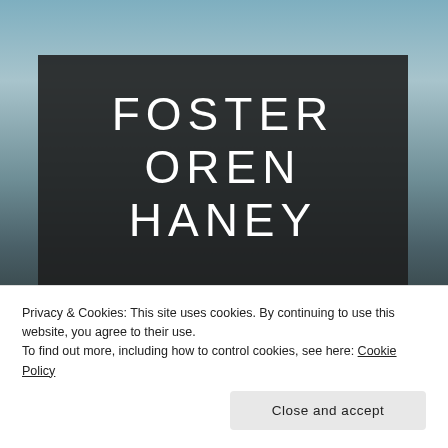[Figure (photo): Background photo of a coastal/seascape scene at dusk with muted teal, blue and dark tones]
FOSTER OREN HANEY
"A worry never cursed a travelin' heart"
Privacy & Cookies: This site uses cookies. By continuing to use this website, you agree to their use.
To find out more, including how to control cookies, see here: Cookie Policy
Close and accept